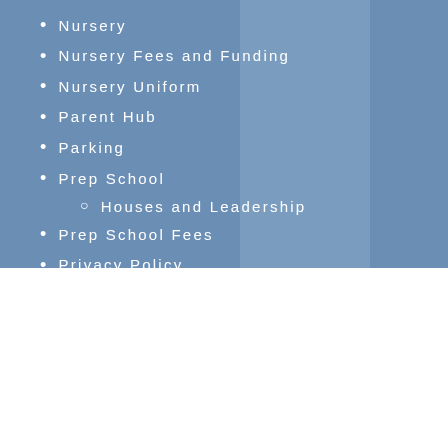Nursery
Nursery Fees and Funding
Nursery Uniform
Parent Hub
Parking
Prep School
Houses and Leadership
Prep School Fees
Privacy Policy
Welcome to Deepdene
We use cookies on our website to give you the most relevant experience by remembering your preferences and repeat visits. By clicking “Accept All”, you consent to the use of ALL the cookies. However, you may visit "Cookie Settings" to provide a controlled consent.